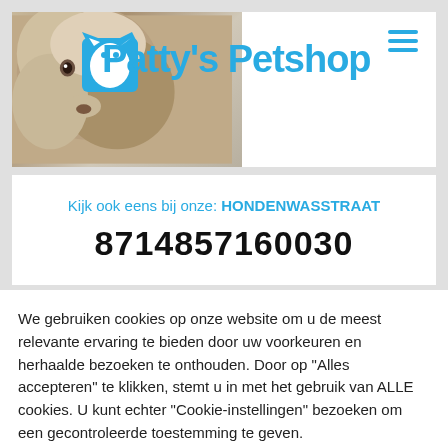[Figure (logo): Patty's Petshop logo with a dog photo background, a cat/dog icon, and blue stylized text reading Patty's Petshop. A hamburger menu icon in blue is in the top right corner.]
Kijk ook eens bij onze: HONDENWASSTRAAT
8714857160030
We gebruiken cookies op onze website om u de meest relevante ervaring te bieden door uw voorkeuren en herhaalde bezoeken te onthouden. Door op "Alles accepteren" te klikken, stemt u in met het gebruik van ALLE cookies. U kunt echter "Cookie-instellingen" bezoeken om een gecontroleerde toestemming te geven.
Cookie Instellingen
Alles Accepteren